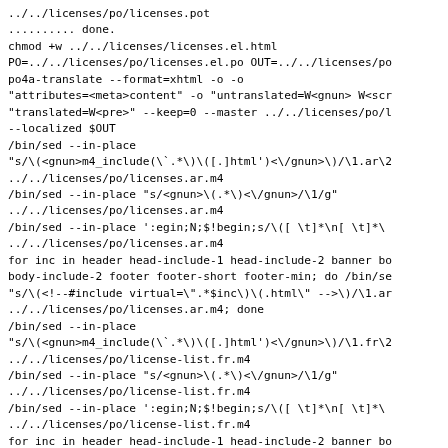../../licenses/po/licenses.pot
.......... done.
chmod +w ../../licenses/licenses.el.html
PO=../../licenses/po/licenses.el.po OUT=../../licenses/po
po4a-translate --format=xhtml -o ontagerror=silent -o
"attributes=<meta>content" -o "untranslated=W<gnun> W<scr
"translated=W<pre>" --keep=0 --master ../../licenses/po/l
--localized $OUT
/bin/sed --in-place
"s/\(<gnun>m4_include(\`.*\)\([.]html')< \/gnun>\)/\1.ar\2
../../licenses/po/licenses.ar.m4
/bin/sed --in-place "s/<gnun>\(.*\)<\/gnun>/\1/g"
../../licenses/po/licenses.ar.m4
/bin/sed --in-place ':egin;N;$!begin;s/\([ \t]*\n[ \t]*\
../../licenses/po/licenses.ar.m4
for inc in header head-include-1 head-include-2 banner bo
body-include-2 footer footer-short footer-min; do /bin/se
"s/\(<!--#include virtual=\".*$inc\)\(.html\" -->\)/\1.ar
../../licenses/po/licenses.ar.m4; done
/bin/sed --in-place
"s/\(<gnun>m4_include(\`.*\)\([.]html')< \/gnun>\)/\1.fr\2
../../licenses/po/license-list.fr.m4
/bin/sed --in-place "s/<gnun>\(.*\)<\/gnun>/\1/g"
../../licenses/po/license-list.fr.m4
/bin/sed --in-place ':egin;N;$!begin;s/\([ \t]*\n[ \t]*\
../../licenses/po/license-list.fr.m4
for inc in header head-include-1 head-include-2 banner bo
body-include-2 footer footer-short footer-min; do /bin/se
"s/\(<!--#include virtual=\".*$inc\)\(.html\" -->\)/\1.fr
../../licenses/po/license-list.fr.m4; done